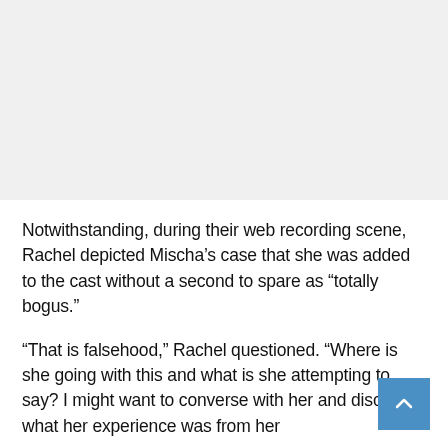[Figure (other): Gray placeholder image area at the top of the page]
Notwithstanding, during their web recording scene, Rachel depicted Mischa’s case that she was added to the cast without a second to spare as “totally bogus.”
“That is falsehood,” Rachel questioned. “Where is she going with this and what is she attempting to say? I might want to converse with her and discover what her experience was from her